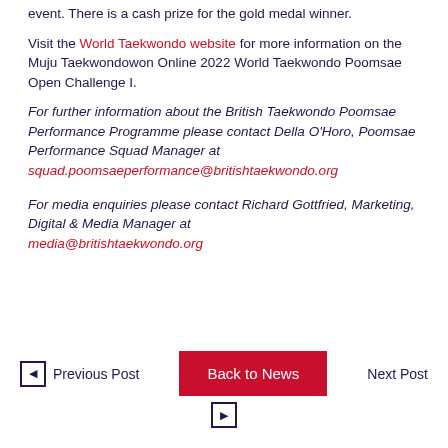event. There is a cash prize for the gold medal winner.
Visit the World Taekwondo website for more information on the Muju Taekwondowon Online 2022 World Taekwondo Poomsae Open Challenge I.
For further information about the British Taekwondo Poomsae Performance Programme please contact Della O'Horo, Poomsae Performance Squad Manager at squad.poomsaeperformance@britishtaekwondo.org
For media enquiries please contact Richard Gottfried, Marketing, Digital & Media Manager at media@britishtaekwondo.org
Previous Post | Back to News | Next Post